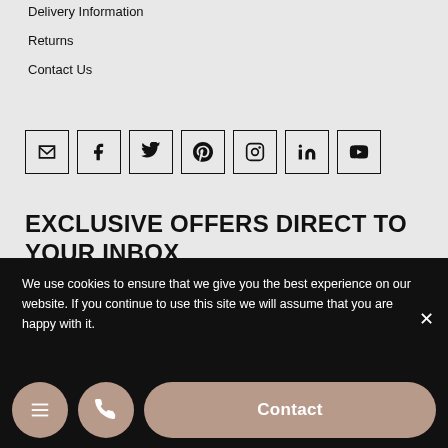Delivery Information
Returns
Contact Us
[Figure (infographic): Row of 7 social media icon buttons in square outlines: email/envelope, Facebook, Twitter, Pinterest, Instagram, LinkedIn, YouTube]
EXCLUSIVE OFFERS DIRECT TO YOUR INBOX
Full Name
We use cookies to ensure that we give you the best experience on our website. If you continue to use this site we will assume that you are happy with it.
Contact